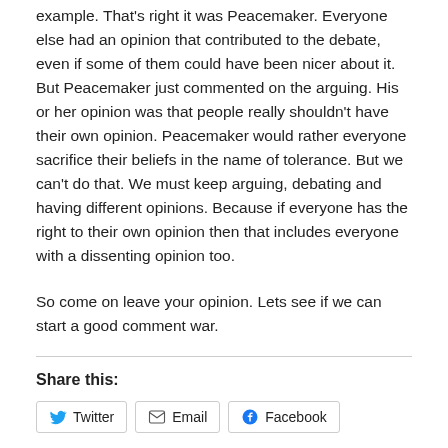example. That's right it was Peacemaker. Everyone else had an opinion that contributed to the debate, even if some of them could have been nicer about it. But Peacemaker just commented on the arguing. His or her opinion was that people really shouldn't have their own opinion. Peacemaker would rather everyone sacrifice their beliefs in the name of tolerance. But we can't do that. We must keep arguing, debating and having different opinions. Because if everyone has the right to their own opinion then that includes everyone with a dissenting opinion too.
So come on leave your opinion. Lets see if we can start a good comment war.
Share this:
Twitter  Email  Facebook